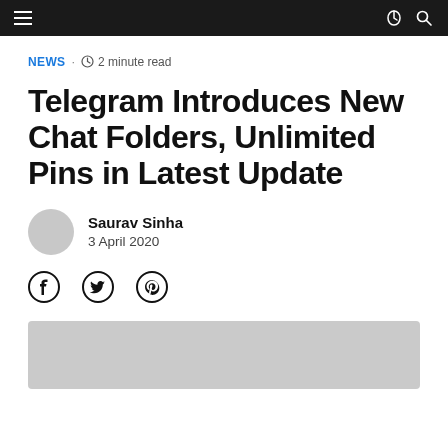Navigation bar
NEWS · 2 minute read
Telegram Introduces New Chat Folders, Unlimited Pins in Latest Update
Saurav Sinha
3 April 2020
[Figure (other): Social share icons: Facebook, Twitter, Pinterest]
[Figure (photo): Featured article image placeholder (gray rectangle)]